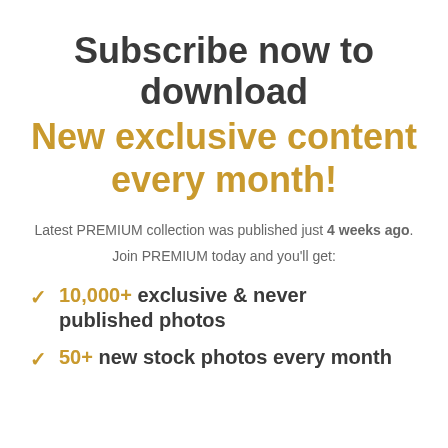Subscribe now to download
New exclusive content every month!
Latest PREMIUM collection was published just 4 weeks ago.
Join PREMIUM today and you'll get:
10,000+ exclusive & never published photos
50+ new stock photos every month